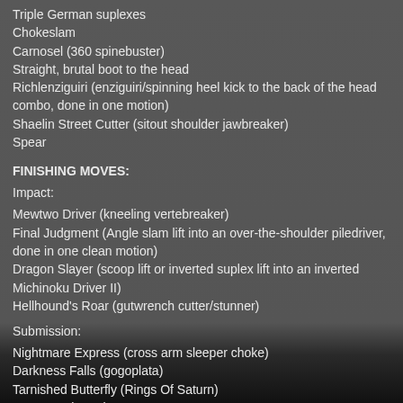Triple German suplexes
Chokeslam
Carnosel (360 spinebuster)
Straight, brutal boot to the head
Richlenziguiri (enziguiri/spinning heel kick to the back of the head combo, done in one motion)
Shaelin Street Cutter (sitout shoulder jawbreaker)
Spear
FINISHING MOVES:
Impact:
Mewtwo Driver (kneeling vertebreaker)
Final Judgment (Angle slam lift into an over-the-shoulder piledriver, done in one clean motion)
Dragon Slayer (scoop lift or inverted suplex lift into an inverted Michinoku Driver II)
Hellhound's Roar (gutwrench cutter/stunner)
Submission:
Nightmare Express (cross arm sleeper choke)
Darkness Falls (gogoplata)
Tarnished Butterfly (Rings Of Saturn)
Reverse Sharpshooter